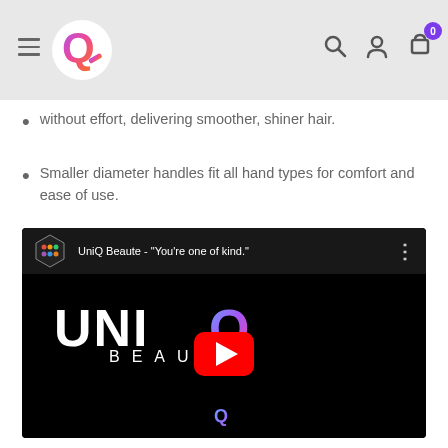UniQ Beaute website header with logo, hamburger menu, search, account, and cart icons
without effort, delivering smoother, shiner hair.
Smaller diameter handles fit all hand types for comfort and ease of use.
[Figure (screenshot): YouTube embed showing UniQ Beaute video titled "You're one of kind." with a play button over the UniQ Beaute logo on black background]